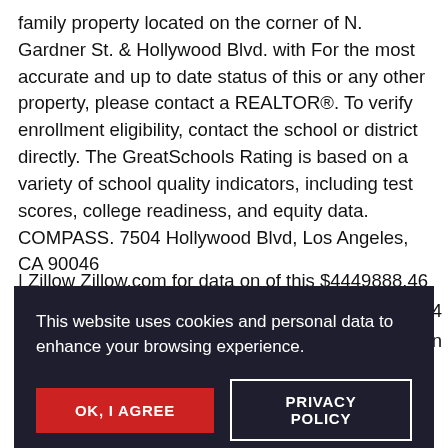family property located on the corner of N. Gardner St. & Hollywood Blvd. with For the most accurate and up to date status of this or any other property, please contact a REALTOR®. To verify enrollment eligibility, contact the school or district directly. The GreatSchools Rating is based on a variety of school quality indicators, including test scores, college readiness, and equity data. COMPASS. 7504 Hollywood Blvd, Los Angeles, CA 90046
| Zillow Zillow.com for data on of this $4449888.46 b...
[Figure (screenshot): Cookie consent overlay popup with dark background. Text reads 'This website uses cookies and personal data to enhance your browsing experience.' Two buttons: 'OK, I AGREE' (red) and 'PRIVACY POLICY' (outlined white).]
on the corner of N. Gardner St. & Hollywood Blvd. Home